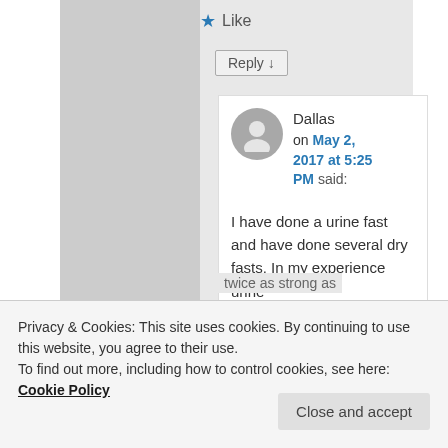★ Like
Reply ↓
Dallas on May 2, 2017 at 5:25 PM said:
I have done a urine fast and have done several dry fasts. In my experience urine
twice as strong as
Privacy & Cookies: This site uses cookies. By continuing to use this website, you agree to their use.
To find out more, including how to control cookies, see here: Cookie Policy
Close and accept